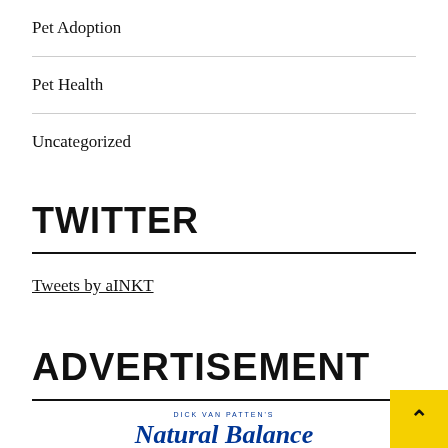Pet Adoption
Pet Health
Uncategorized
TWITTER
Tweets by aINKT
ADVERTISEMENT
[Figure (logo): Natural Balance pet food logo in blue serif/italic font with small tagline text above]